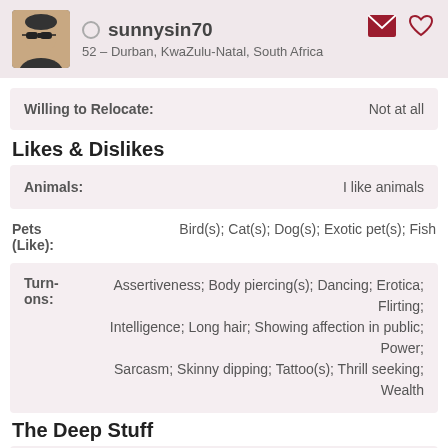sunnysin70 – 52 – Durban, KwaZulu-Natal, South Africa
| Field | Value |
| --- | --- |
| Willing to Relocate: | Not at all |
Likes & Dislikes
| Field | Value |
| --- | --- |
| Animals: | I like animals |
| Field | Value |
| --- | --- |
| Pets (Like): | Bird(s); Cat(s); Dog(s); Exotic pet(s); Fish |
| Field | Value |
| --- | --- |
| Turn-ons: | Assertiveness; Body piercing(s); Dancing; Erotica; Flirting; Intelligence; Long hair; Showing affection in public; Power; Sarcasm; Skinny dipping; Tattoo(s); Thrill seeking; Wealth |
The Deep Stuff
| Field | Value |
| --- | --- |
| Work Aspirations: | I already have my ideal job |